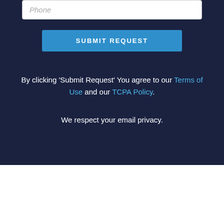Phone
SUBMIT REQUEST
By clicking 'Submit Request' You agree to our Terms of Use and our TCPA Policy.
We respect your email privacy.
If you're looking for